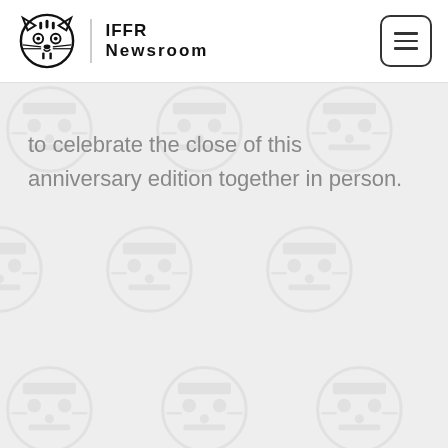IFFR Newsroom
to celebrate the close of this anniversary edition together in person.
[Figure (illustration): Watermark background pattern of repeated tiger face logos (IFFR mascot) in light gray, tiling across the lower portion of the page.]